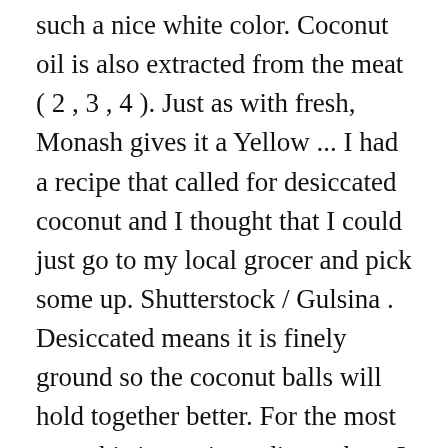such a nice white color. Coconut oil is also extracted from the meat ( 2 , 3 , 4 ). Just as with fresh, Monash gives it a Yellow ... I had a recipe that called for desiccated coconut and I thought that I could just go to my local grocer and pick some up. Shutterstock / Gulsina . Desiccated means it is finely ground so the coconut balls will hold together better. For the most part, this is one ingredient where I think that it's best to follow the recipe. Organic Desiccated Coconut Fine Unsweetened Natural Kosher Vegan Bulk 50 Lbs. Desiccated coconut is a coconut product that is prepared and preserved by removing the natural moisture in the coconut fruit. Add to trolley. Extra fine coconut : Extra fine quality desiccated coconut